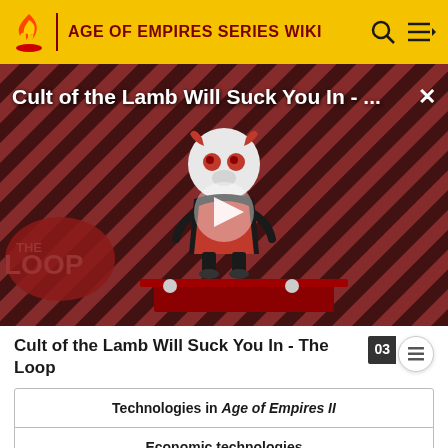AGE OF EMPIRES SERIES WIKI
[Figure (screenshot): Video thumbnail for 'Cult of the Lamb Will Suck You In - The Loop' showing a cartoon lamb character with red eyes on a striped background with THE LOOP badge and a play button]
Cult of the Lamb Will Suck You In - The Loop
| Technologies in Age of Empires II |
| Economic technologies |